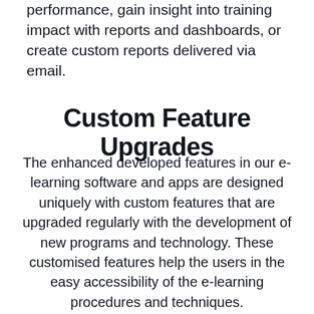performance, gain insight into training impact with reports and dashboards, or create custom reports delivered via email.
Custom Feature Upgrades
The enhanced developed features in our e-learning software and apps are designed uniquely with custom features that are upgraded regularly with the development of new programs and technology. These customised features help the users in the easy accessibility of the e-learning procedures and techniques.